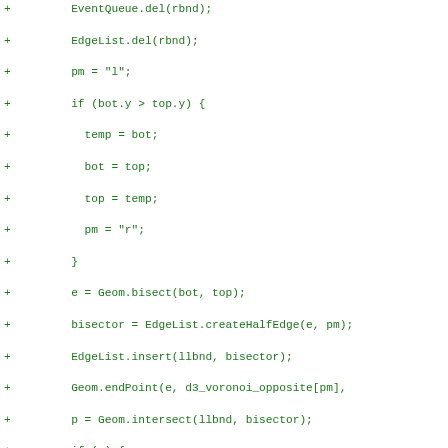[Figure (other): Green-colored diff/code snippet showing JavaScript code for a Voronoi diagram algorithm, with '+' markers indicating added lines. Code includes EventQueue, EdgeList, Geom operations.]